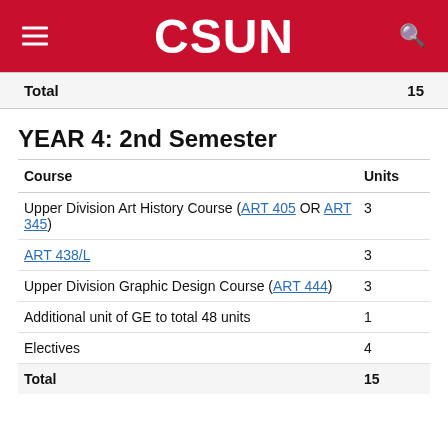CSUN
| Course | Units |
| --- | --- |
| Total | 15 |
YEAR 4: 2nd Semester
| Course | Units |
| --- | --- |
| Upper Division Art History Course (ART 405 OR ART 345) | 3 |
| ART 438/L | 3 |
| Upper Division Graphic Design Course (ART 444) | 3 |
| Additional unit of GE to total 48 units | 1 |
| Electives | 4 |
| Total | 15 |